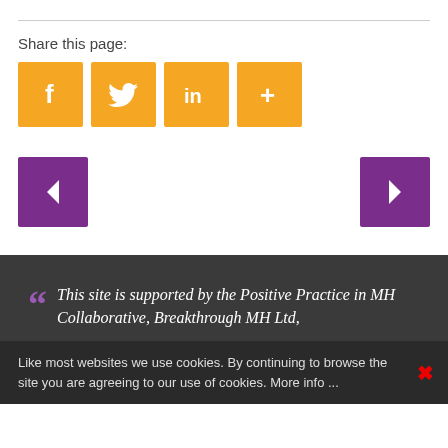Share this page:
[Figure (infographic): Social share buttons: Facebook (f), Twitter (bird), LinkedIn (in), More (+) — all orange square icons]
[Figure (infographic): Navigation arrows: purple left chevron button on left, purple right chevron button on right]
" This site is supported by the Positive Practice in MH Collaborative, Breakthrough MH Ltd,
Like most websites we use cookies. By continuing to browse the site you are agreeing to our use of cookies. More info ...